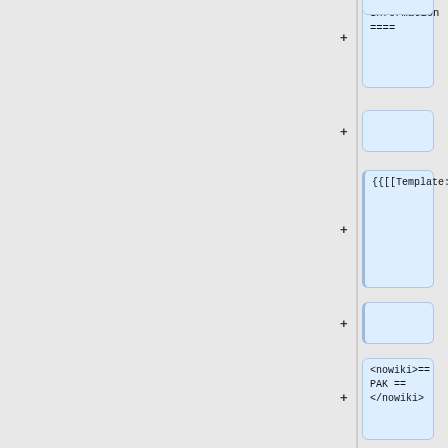Information ====
+
{{{[[Template:GRAFPageHeader|GRAFPageHeader]]}}}
+
<nowiki>== PAK == </nowiki>
{{{[[Template:GRAFPageMisc|GRAFPageMisc]]]|date_posted=20:45, 26 Apr 2006 (EDT)}}